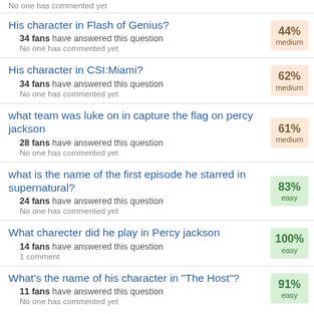No one has commented yet
His character in Flash of Genius?
34 fans have answered this question
No one has commented yet
44% medium
His character in CSI:Miami?
34 fans have answered this question
No one has commented yet
62% medium
what team was luke on in capture the flag on percy jackson
28 fans have answered this question
No one has commented yet
61% medium
what is the name of the first episode he starred in supernatural?
24 fans have answered this question
No one has commented yet
83% easy
What charecter did he play in Percy jackson
14 fans have answered this question
1 comment
100% easy
What's the name of his character in "The Host"?
11 fans have answered this question
No one has commented yet
91% easy